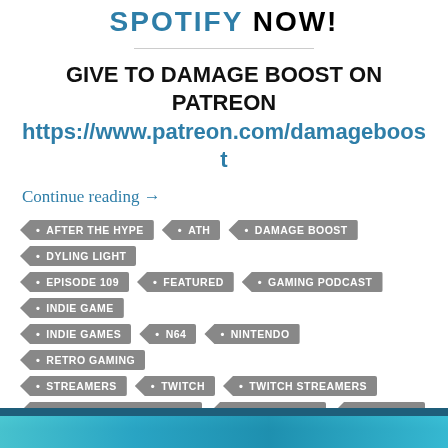SPOTIFY NOW!
GIVE TO DAMAGE BOOST ON PATREON
https://www.patreon.com/damageboost
Continue reading →
AFTER THE HYPE
ATH
DAMAGE BOOST
DYLING LIGHT
EPISODE 109
FEATURED
GAMING PODCAST
INDIE GAME
INDIE GAMES
N64
NINTENDO
RETRO GAMING
STREAMERS
TWITCH
TWITCH STREAMERS
VIDEO GAME INTERVIEWS
VIDEO GAMES
YOUTUBE
YOUTUBE STREAMERS